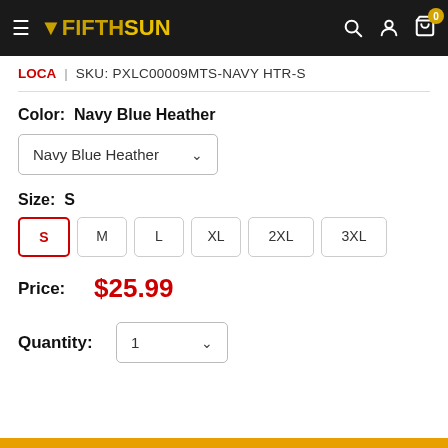VFIFTHSUN — navigation header with search, account, and cart icons
LOCA | SKU: PXLC00009MTS-NAVY HTR-S
Color: Navy Blue Heather
Navy Blue Heather (dropdown)
Size: S
S M L XL 2XL 3XL
Price: $25.99
Quantity: 1